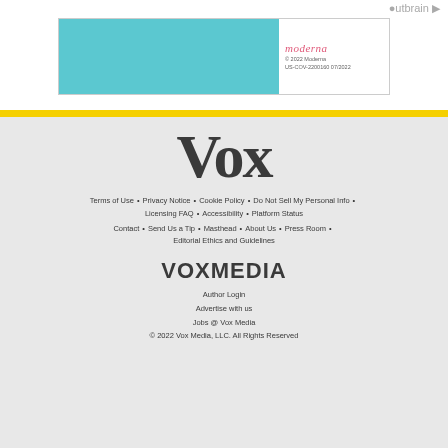[Figure (logo): Outbrain logo at top right]
[Figure (photo): Moderna advertisement banner with teal/blue left panel and Moderna logo and copyright text on right]
[Figure (logo): Vox logo in large serif bold font]
Terms of Use • Privacy Notice • Cookie Policy • Do Not Sell My Personal Info • Licensing FAQ • Accessibility • Platform Status
Contact • Send Us a Tip • Masthead • About Us • Press Room • Editorial Ethics and Guidelines
[Figure (logo): VOX MEDIA logo in bold sans-serif]
Author Login
Advertise with us
Jobs @ Vox Media
© 2022 Vox Media, LLC. All Rights Reserved